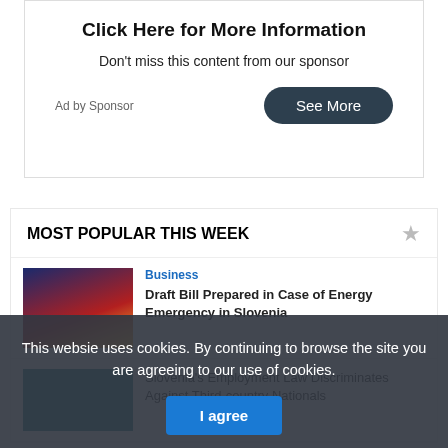Click Here for More Information
Don't miss this content from our sponsor
Ad by Sponsor
See More
MOST POPULAR THIS WEEK
Business
Draft Bill Prepared in Case of Energy Emergency in Slovenia
[Figure (photo): Dark sunset/energy infrastructure photo]
Slovenia's Employment Law Discriminates Against Third-country Nationals
[Figure (photo): Teal background with cards/documents]
This websie uses cookies. By continuing to browse the site you are agreeing to our use of cookies.
I agree